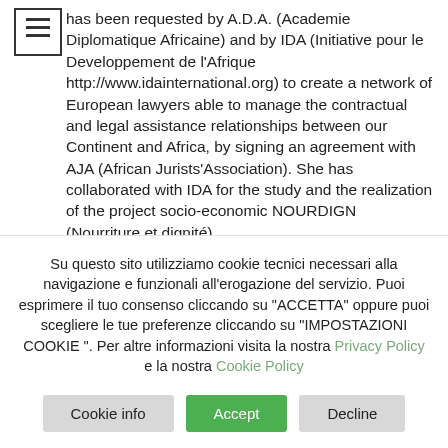She has been requested by A.D.A. (Academie Diplomatique Africaine) and by IDA (Initiative pour le Developpement de l'Afrique http://www.idainternational.org) to create a network of European lawyers able to manage the contractual and legal assistance relationships between our Continent and Africa, by signing an agreement with AJA (African Jurists'Association). She has collaborated with IDA for the study and the realization of the project socio-economic NOURDIGN (Nourriture et dignité) for the Italian closure of African economic collaboration with...
Su questo sito utilizziamo cookie tecnici necessari alla navigazione e funzionali all'erogazione del servizio. Puoi esprimere il tuo consenso cliccando su "ACCETTA" oppure puoi scegliere le tue preferenze cliccando su "IMPOSTAZIONI COOKIE ". Per altre informazioni visita la nostra Privacy Policy e la nostra Cookie Policy